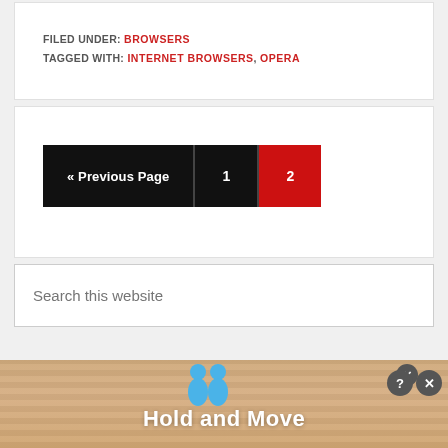FILED UNDER: BROWSERS
TAGGED WITH: INTERNET BROWSERS, OPERA
« Previous Page  1  2
Search this website
[Figure (screenshot): infolinks advertisement banner with 'Hold and Move' text and two blue figures on a wooden background]
infolinks